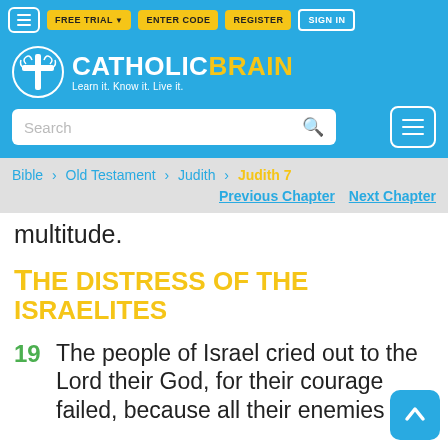CatholicBrain — Learn it. Know it. Live it.
Bible > Old Testament > Judith > Judith 7
Previous Chapter   Next Chapter
multitude.
The Distress of the Israelites
19  The people of Israel cried out to the Lord their God, for their courage failed, because all their enemies